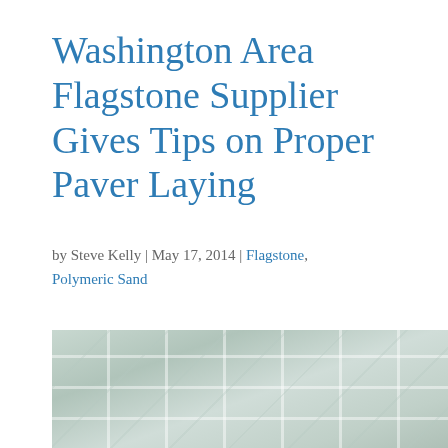Washington Area Flagstone Supplier Gives Tips on Proper Paver Laying
by Steve Kelly | May 17, 2014 | Flagstone, Polymeric Sand
[Figure (photo): Close-up photograph of flagstone pavers laid in a herringbone or grid pattern, showing light grey/blue-green stone tiles with white grout lines]